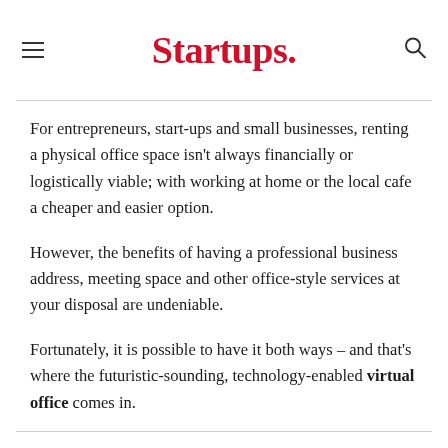Startups.
For entrepreneurs, start-ups and small businesses, renting a physical office space isn't always financially or logistically viable; with working at home or the local cafe a cheaper and easier option.
However, the benefits of having a professional business address, meeting space and other office-style services at your disposal are undeniable.
Fortunately, it is possible to have it both ways – and that's where the futuristic-sounding, technology-enabled virtual office comes in.